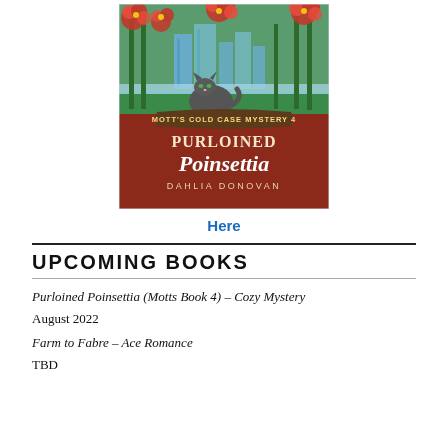[Figure (illustration): Book cover for 'Purloined Poinsettia' by Dahlia Donovan, Motts Cold Case Mystery 4. Upper half shows a green background with tall green stalks and red poinsettia flowers, a cityscape in the background, and a gray cat in the foreground. Lower half is dark red/burgundy with a banner reading 'MOTT'S COLD CASE MYSTERY 4', large script title 'Purloined Poinsettia', and author name 'DAHLIA DONOVAN'.]
Here
UPCOMING BOOKS
Purloined Poinsettia (Motts Book 4) – Cozy Mystery
August 2022
Farm to Fabre – Ace Romance
TBD